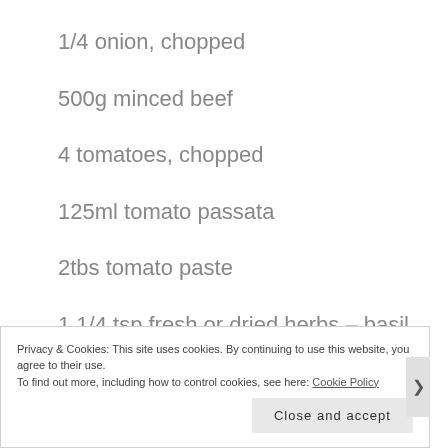1/4 onion, chopped
500g minced beef
4 tomatoes, chopped
125ml tomato passata
2tbs tomato paste
1 1/4 tsp fresh or dried herbs – basil, thyme, sage, oregano
Privacy & Cookies: This site uses cookies. By continuing to use this website, you agree to their use.
To find out more, including how to control cookies, see here: Cookie Policy
Close and accept